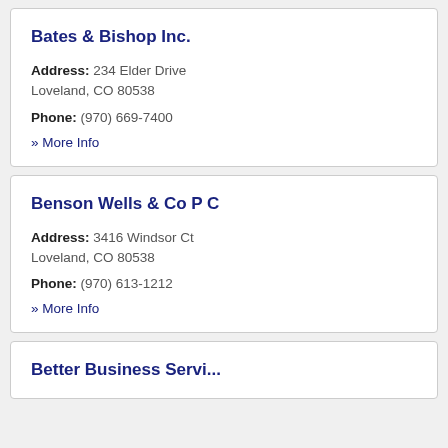Bates & Bishop Inc.
Address: 234 Elder Drive
Loveland, CO 80538
Phone: (970) 669-7400
» More Info
Benson Wells & Co P C
Address: 3416 Windsor Ct
Loveland, CO 80538
Phone: (970) 613-1212
» More Info
Better Business Service...